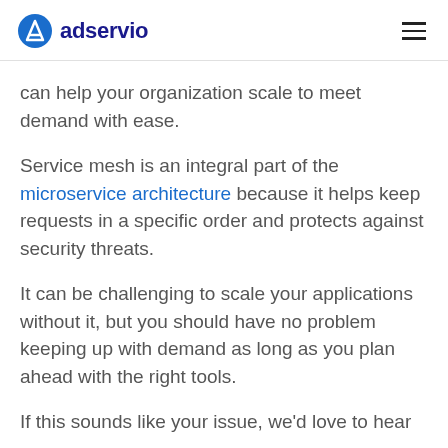adservio
can help your organization scale to meet demand with ease.
Service mesh is an integral part of the microservice architecture because it helps keep requests in a specific order and protects against security threats.
It can be challenging to scale your applications without it, but you should have no problem keeping up with demand as long as you plan ahead with the right tools.
If this sounds like your issue, we'd love to hear